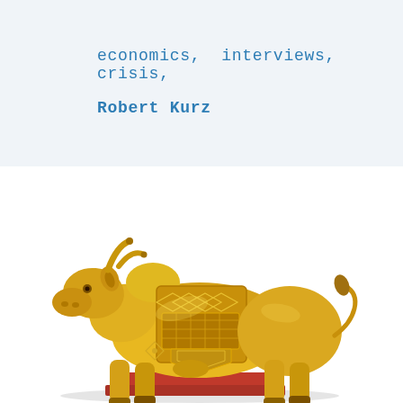economics,  interviews,  crisis,
Robert Kurz
[Figure (photo): Golden bull figurine/statuette with decorative carved patterns on its body, standing on a red and gold base, photographed against a white background.]